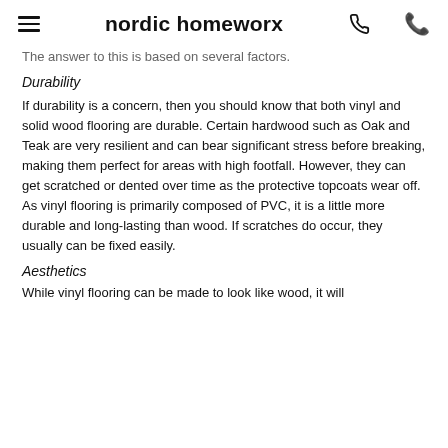nordic homeworx
The answer to this is based on several factors.
Durability
If durability is a concern, then you should know that both vinyl and solid wood flooring are durable. Certain hardwood such as Oak and Teak are very resilient and can bear significant stress before breaking, making them perfect for areas with high footfall. However, they can get scratched or dented over time as the protective topcoats wear off. As vinyl flooring is primarily composed of PVC, it is a little more durable and long-lasting than wood. If scratches do occur, they usually can be fixed easily.
Aesthetics
While vinyl flooring can be made to look like wood, it will